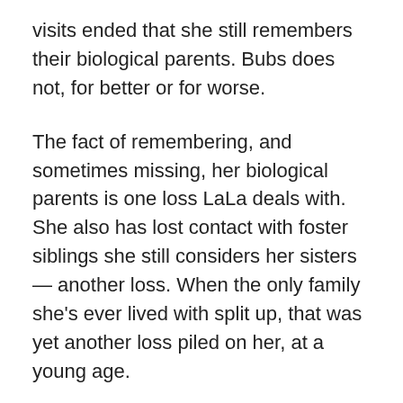visits ended that she still remembers their biological parents. Bubs does not, for better or for worse.
The fact of remembering, and sometimes missing, her biological parents is one loss LaLa deals with. She also has lost contact with foster siblings she still considers her sisters — another loss. When the only family she's ever lived with split up, that was yet another loss piled on her, at a young age.
Some people would tell you that's what life is: learning to deal with loss.